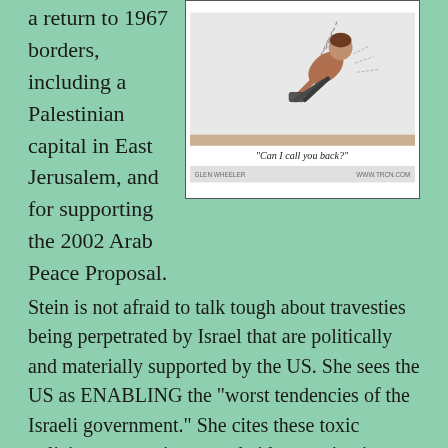a return to 1967 borders, including a Palestinian capital in East Jerusalem, and for supporting the 2002 Arab Peace Proposal.
[Figure (illustration): Editorial cartoon showing a figure falling or diving, with caption 'Can I call you back?' Bylines: GLEN WHEELER and WWW.TRCN.COM]
Stein is not afraid to talk tough about travesties being perpetrated by Israel that are politically and materially supported by the US. She sees the US as ENABLING the “worst tendencies of the Israeli government.” She cites these toxic policies: occupation, apartheid, assassination, illegal settlements, building of nuclear bombs, indefinite detention, collective punishment, and defiance of international law.”
Stein also argues that the US...